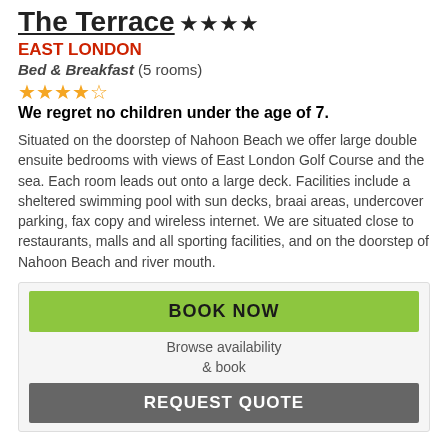The Terrace ★★★★
EAST LONDON
Bed & Breakfast (5 rooms)
★★★★½ We regret no children under the age of 7.
Situated on the doorstep of Nahoon Beach we offer large double ensuite bedrooms with views of East London Golf Course and the sea. Each room leads out onto a large deck. Facilities include a sheltered swimming pool with sun decks, braai areas, undercover parking, fax copy and wireless internet. We are situated close to restaurants, malls and all sporting facilities, and on the doorstep of Nahoon Beach and river mouth.
BOOK NOW
Browse availability & book
REQUEST QUOTE